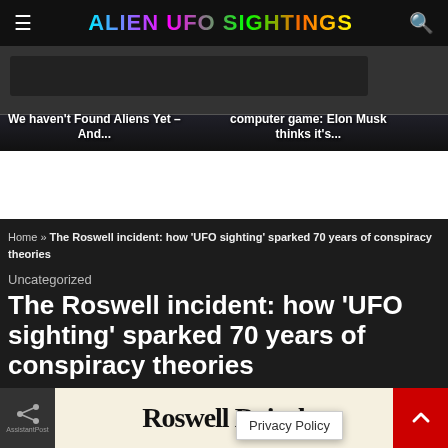ALIEN UFO SIGHTINGS
[Figure (screenshot): Two slider images: left shows 'We haven't Found Aliens Yet – And...' on dark red background; right shows 'computer game: Elon Musk thinks it's...' on dark background with a car interior]
[Figure (other): White advertisement space]
Home » The Roswell incident: how 'UFO sighting' sparked 70 years of conspiracy theories
Uncategorized
The Roswell incident: how 'UFO sighting' sparked 70 years of conspiracy theories
by Alien UFO Sightings
0 comment
[Figure (photo): Bottom strip showing share button, Roswell Daily Record newspaper front page, Privacy Policy overlay, and red scroll-to-top button]